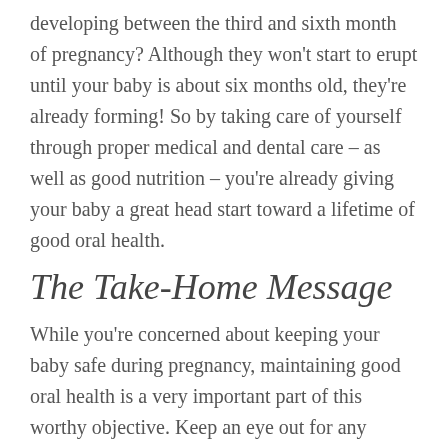developing between the third and sixth month of pregnancy? Although they won't start to erupt until your baby is about six months old, they're already forming! So by taking care of yourself through proper medical and dental care – as well as good nutrition – you're already giving your baby a great head start toward a lifetime of good oral health.
The Take-Home Message
While you're concerned about keeping your baby safe during pregnancy, maintaining good oral health is a very important part of this worthy objective. Keep an eye out for any changes that could indicate an issue, and make an appointment with your dentist as soon as possible. Even if – hopefully – no conditions develop,